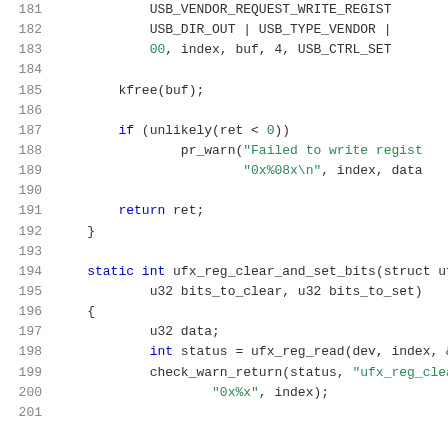[Figure (screenshot): Source code listing showing C code for USB register write and ufx_reg_clear_and_set_bits function, with line numbers 181-201, syntax highlighted in blue and green on white background.]